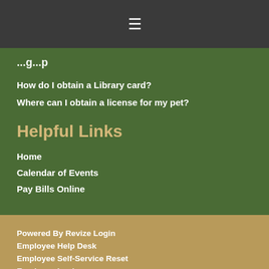≡
How do I obtain a Library card?
Where can I obtain a license for my pet?
Helpful Links
Home
Calendar of Events
Pay Bills Online
Powered By Revize Login
Employee Help Desk
Employee Self-Service Reset
Employee Login